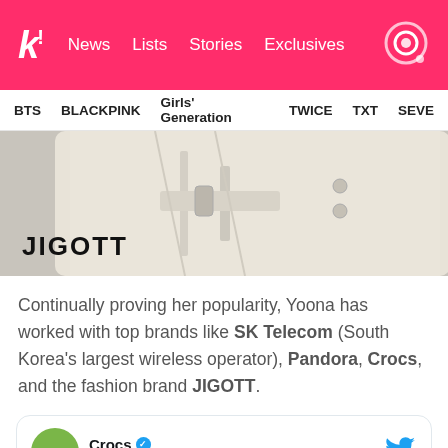k! News Lists Stories Exclusives
BTS BLACKPINK Girls' Generation TWICE TXT SEVE…
[Figure (photo): Photo of cream/beige belted fashion coat or trousers with JIGOTT brand label overlaid in bottom left]
Continually proving her popularity, Yoona has worked with top brands like SK Telecom (South Korea's largest wireless operator), Pandora, Crocs, and the fashion brand JIGOTT.
[Figure (screenshot): Tweet embed from @Crocs account: 'Watch #Yoona add her own flare to the Crocs musical! 💃🎵']